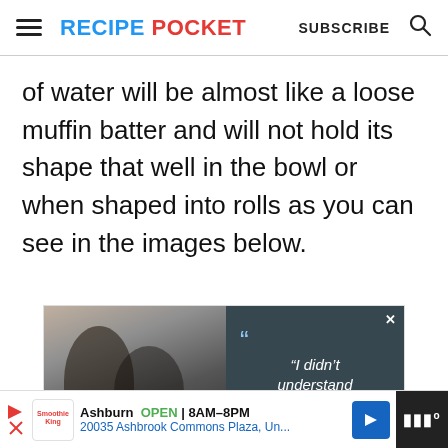RECIPE POCKET  SUBSCRIBE
of water will be almost like a loose muffin batter and will not hold its shape that well in the bowl or when shaped into rolls as you can see in the images below.
[Figure (photo): Advertisement with a photo of a couple on the left and a dark blue-grey panel on the right with a quote mark and text: "I didn't understand what love really"]
Ashburn  OPEN | 8AM–8PM  20035 Ashbrook Commons Plaza, Un...